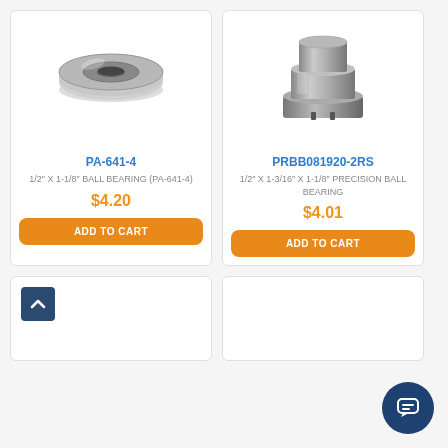[Figure (photo): Silver/metallic ball bearing (PA-641-4), flat disc shape with center hole]
PA-641-4
1/2" X 1-1/8" BALL BEARING (PA-641-4)
$4.20
ADD TO CART
[Figure (photo): Metallic precision ball bearing (PRBB081920-2RS), cylindrical shape with stepped profile]
PRBB081920-2RS
1/2" X 1-3/16" X 1-1/8" PRECISION BALL BEARING
$4.01
ADD TO CART
[Figure (other): Scroll to top button (arrow chevron up icon in dark blue square)]
[Figure (other): Chat widget button (speech bubble icon in dark navy circle)]